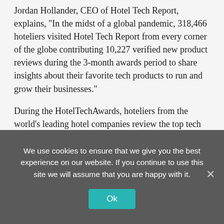Jordan Hollander, CEO of Hotel Tech Report, explains, "In the midst of a global pandemic, 318,466 hoteliers visited Hotel Tech Report from every corner of the globe contributing 10,227 verified new product reviews during the 3-month awards period to share insights about their favorite tech products to run and grow their businesses."
During the HotelTechAwards, hoteliers from the world's leading hotel companies review the top tech products used at their hotels to increase operating efficiency, drive revenue, and improve the guest experience. This data is used to identify the best hotel tech products and organizations. 2021 voting included participation from major hotel groups, including Four Seasons, Hilton, Marriott, Accor Hotels, Hyatt, Intercontinental, Rosewood, and thousands of independents. We are thankful for...
We use cookies to ensure that we give you the best experience on our website. If you continue to use this site we will assume that you are happy with it.